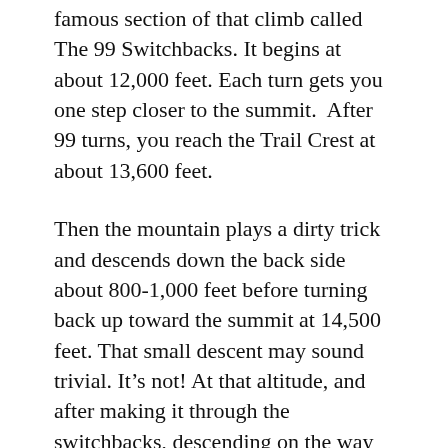famous section of that climb called The 99 Switchbacks. It begins at about 12,000 feet. Each turn gets you one step closer to the summit.  After 99 turns, you reach the Trail Crest at about 13,600 feet.
Then the mountain plays a dirty trick and descends down the back side about 800-1,000 feet before turning back up toward the summit at 14,500 feet. That small descent may sound trivial. It’s not! At that altitude, and after making it through the switchbacks, descending on the way to the summit is quite a mind bender. The only response to the mountain’s challenge is to take the next step, and the one after that.